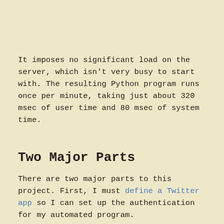It imposes no significant load on the server, which isn't very busy to start with. The resulting Python program runs once per minute, taking just about 320 msec of user time and 80 msec of system time.
Two Major Parts
There are two major parts to this project. First, I must define a Twitter app so I can set up the authentication for my automated program.
Second, I wrote a Python program based on an existing script written by someone else. I first updated it from Python 2 to 3. That required some adjustments in